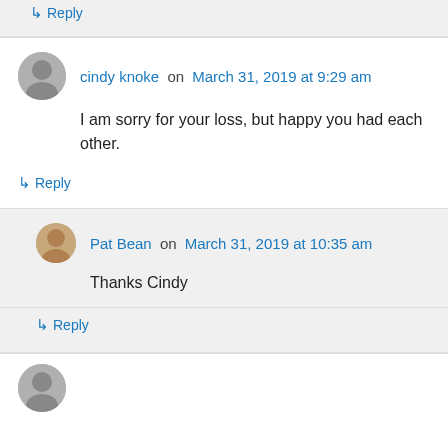↳ Reply
cindy knoke on March 31, 2019 at 9:29 am
I am sorry for your loss, but happy you had each other.
↳ Reply
Pat Bean on March 31, 2019 at 10:35 am
Thanks Cindy
↳ Reply